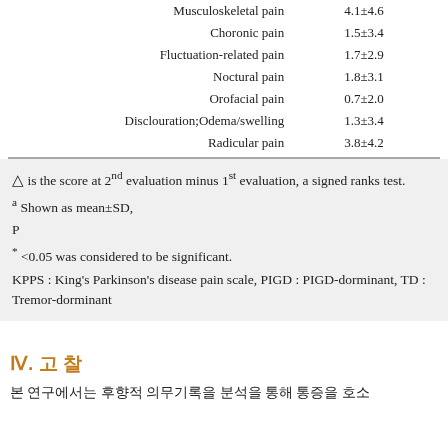|  |  |
| --- | --- |
| Musculoskeletal pain | 4.1±4.6 |
| Choronic pain | 1.5±3.4 |
| Fluctuation-related pain | 1.7±2.9 |
| Noctural pain | 1.8±3.1 |
| Orofacial pain | 0.7±2.0 |
| Disclouration;Odema/swelling | 1.3±3.4 |
| Radicular pain | 3.8±4.2 |
△ is the score at 2nd evaluation minus 1st evaluation, a signed ranks test. a Shown as mean±SD, P * <0.05 was considered to be significant. KPPS : King's Parkinson's disease pain scale, PIGD : PIGD-dorminant, TD : Tremor-dorminant
Ⅳ. 고 찰
본 연구에서는 후향적 의무기록을 분석을 통해 통증을 호소